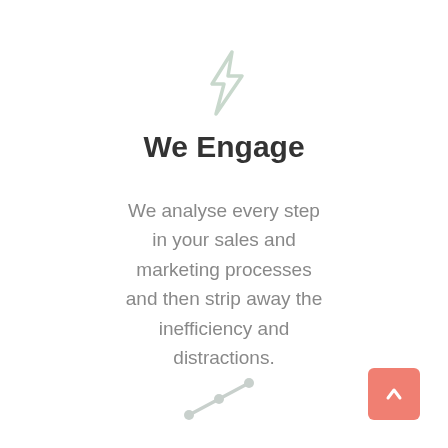[Figure (illustration): Light gray lightning bolt icon centered near top of page]
We Engage
We analyse every step in your sales and marketing processes and then strip away the inefficiency and distractions.
[Figure (illustration): Light gray line chart / trend line icon centered near bottom of page]
[Figure (illustration): Salmon/coral colored square button with white upward arrow, bottom right corner]